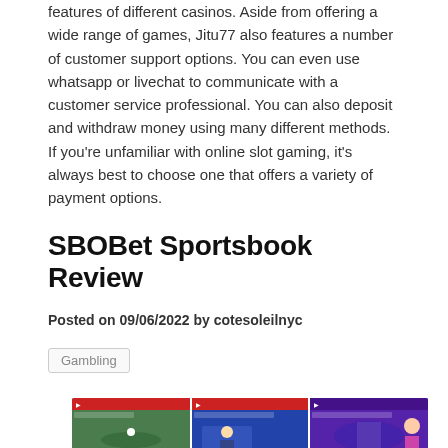features of different casinos. Aside from offering a wide range of games, Jitu77 also features a number of customer support options. You can even use whatsapp or livechat to communicate with a customer service professional. You can also deposit and withdraw money using many different methods. If you're unfamiliar with online slot gaming, it's always best to choose one that offers a variety of payment options.
SBOBet Sportsbook Review
Posted on 09/06/2022 by cotesoleilnyc
Gambling
[Figure (photo): A collage of sports broadcast screens showing various sports events including golf, basketball, and other sports, with a person visible on the right side.]